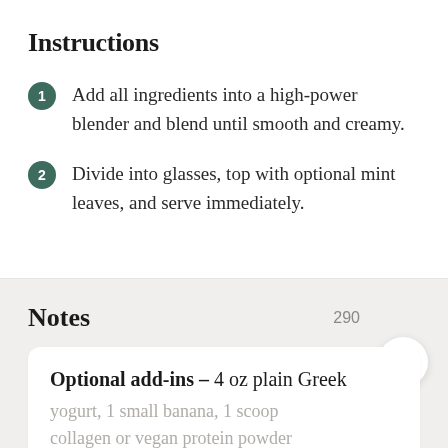Instructions
Add all ingredients into a high-power blender and blend until smooth and creamy.
Divide into glasses, top with optional mint leaves, and serve immediately.
Notes
290
Optional add-ins – 4 oz plain Greek yogurt, 1 small banana, 1 scoop collagen or vegan protein powder